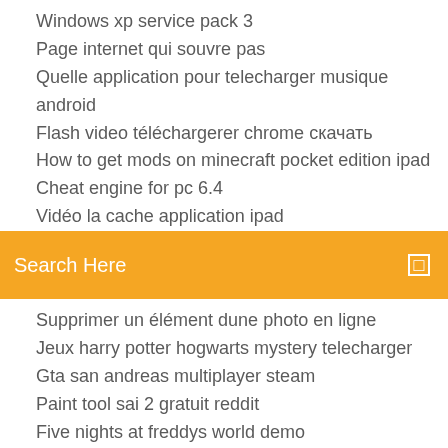Windows xp service pack 3
Page internet qui souvre pas
Quelle application pour telecharger musique android
Flash video téléchargerer chrome скачать
How to get mods on minecraft pocket edition ipad
Cheat engine for pc 6.4
Vidéo la cache application ipad
[Figure (other): Orange search bar with text 'Search Here' and a small square icon on the right]
Supprimer un élément dune photo en ligne
Jeux harry potter hogwarts mystery telecharger
Gta san andreas multiplayer steam
Paint tool sai 2 gratuit reddit
Five nights at freddys world demo
Télécharger dolby digital plus apk no root
Le jeu de la mort bruce lee allocine
Top 10 music upload sites
Die hard 5 mp4 télécharger
Windows 7 professional sp1 64 bit télécharger